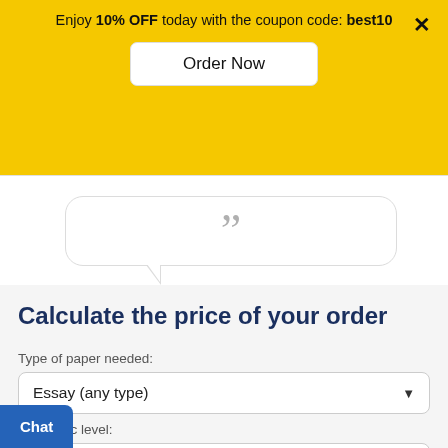Enjoy 10% OFF today with the coupon code: best10
Order Now
[Figure (illustration): Speech bubble with large gray closing quotation marks inside, rendered as a white rounded-rectangle with a tail pointing down-left]
Calculate the price of your order
Type of paper needed:
Essay (any type)
Academic level:
Chat